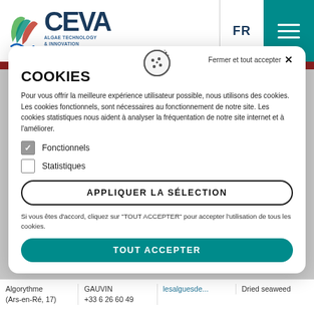[Figure (logo): CEVA Algae Technology & Innovation Centre logo with colorful leaf/wave icon]
COOKIES
Pour vous offrir la meilleure expérience utilisateur possible, nous utilisons des cookies. Les cookies fonctionnels, sont nécessaires au fonctionnement de notre site. Les cookies statistiques nous aident à analyser la fréquentation de notre site internet et à l'améliorer.
Fonctionnels
Statistiques
APPLIQUER LA SÉLECTION
Si vous êtes d'accord, cliquez sur "TOUT ACCEPTER" pour accepter l'utilisation de tous les cookies.
TOUT ACCEPTER
Algorythme (Ars-en-Ré, 17)
GAUVIN +33 6 26 60 49
lesalguesde...
Dried seaweed